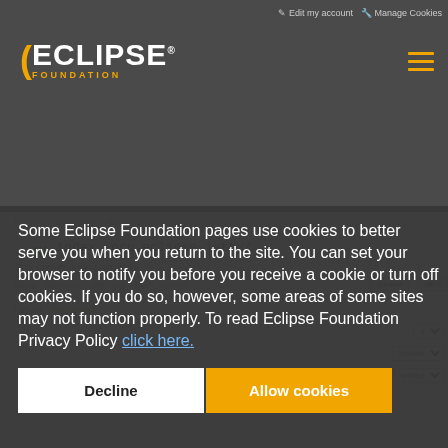Edit my account  Manage Cookies
[Figure (logo): Eclipse Foundation logo with orange arc and text]
Home / Contribute / Source code
--- git
+++ git
index .org.eclipse.jetty/
Jetty, primary project repository
about  summary  refs  log  tree  commit  diff  s
Diffstat
diff options
Some Eclipse Foundation pages use cookies to better serve you when you return to the site. You can set your browser to notify you before you receive a cookie or turn off cookies. If you do so, however, some areas of some sites may not function properly. To read Eclipse Foundation Privacy Policy click here.
Decline
Allow cookies